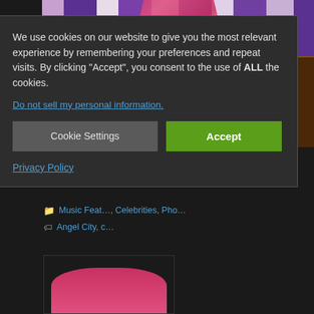[Figure (photo): Photo of a person wearing a pink/red striped dress in front of a purple and white striped background, with a wooden box visible on the right side]
Angel City featuring Lara McAllen – Publicity Photos photos copyright Positiva
Music Features, Celebrities, Photos | Angel City, c...
We use cookies on our website to give you the most relevant experience by remembering your preferences and repeat visits. By clicking "Accept", you consent to the use of ALL the cookies.
Do not sell my personal information.
Cookie Settings | Accept
Privacy Policy
[Figure (photo): Partial view of another photo at the bottom of the page]